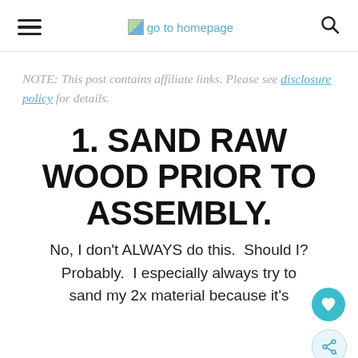go to homepage
NOTE: This post contains affiliate links. Please see disclosure policy for details.
1. SAND RAW WOOD PRIOR TO ASSEMBLY.
No, I don't ALWAYS do this. Should I? Probably. I especially always try to sand my 2x material because it's